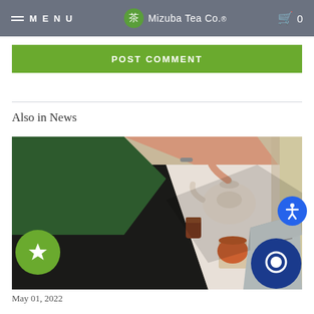MENU  Mizuba Tea Co.  0
POST COMMENT
Also in News
[Figure (photo): Top-down view of a person wearing green clothing and a bracelet, holding a ceramic teapot over a table with tea accessories including a small tin, a ceramic cup with lid, and a silver foil tea bag, near a window with natural light.]
May 01, 2022